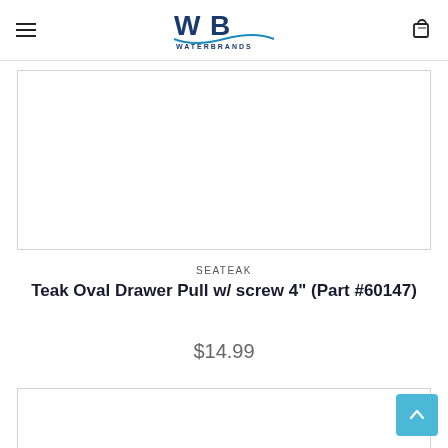WaterBrands navigation header with hamburger menu and cart icon
[Figure (photo): Product image area 1 - white rectangle with border, product photo area for teak oval drawer pull]
SEATEAK
Teak Oval Drawer Pull w/ screw 4" (Part #60147)
$14.99
[Figure (photo): Product image area 2 - white rectangle with border, second product image]